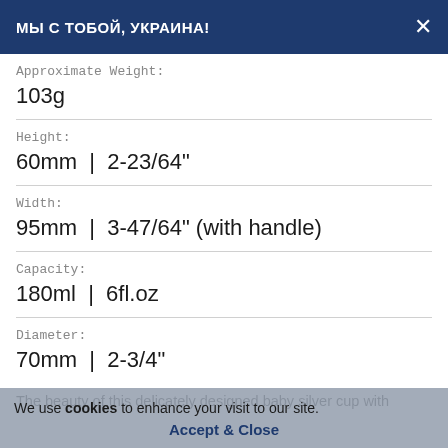МЫ С ТОБОЙ, УКРАИНА!
Approximate Weight:
103g
Height:
60mm | 2-23/64"
Width:
95mm | 3-47/64" (with handle)
Capacity:
180ml | 6fl.oz
Diameter:
70mm | 2-3/4"
The beauty of this delicately designed baby silver cup with
We use cookies to enhance your visit to our site.
Accept & Close